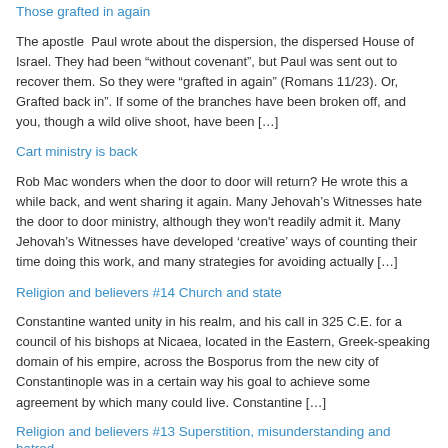Those grafted in again
The apostle  Paul wrote about the dispersion, the dispersed House of Israel. They had been “without covenant”, but Paul was sent out to recover them. So they were “grafted in again” (Romans 11/23). Or, Grafted back in”. If some of the branches have been broken off, and you, though a wild olive shoot, have been […]
Cart ministry is back
Rob Mac wonders when the door to door will return? He wrote this a while back, and went sharing it again. Many Jehovah’s Witnesses hate the door to door ministry, although they won't readily admit it. Many Jehovah’s Witnesses have developed ‘creative’ ways of counting their time doing this work, and many strategies for avoiding actually […]
Religion and believers #14 Church and state
Constantine wanted unity in his realm, and his call in 325 C.E. for a council of his bishops at Nicaea, located in the Eastern, Greek-speaking domain of his empire, across the Bosporus from the new city of Constantinople was in a certain way his goal to achieve some agreement by which many could live. Constantine […]
Religion and believers #13 Superstition, misunderstanding and hatred